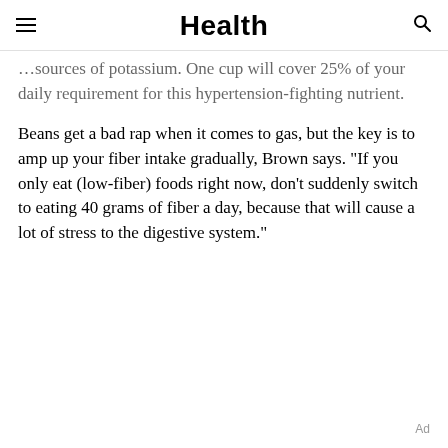Health
…sources of potassium. One cup will cover 25% of your daily requirement for this hypertension-fighting nutrient.
Beans get a bad rap when it comes to gas, but the key is to amp up your fiber intake gradually, Brown says. "If you only eat (low-fiber) foods right now, don't suddenly switch to eating 40 grams of fiber a day, because that will cause a lot of stress to the digestive system."
Ad